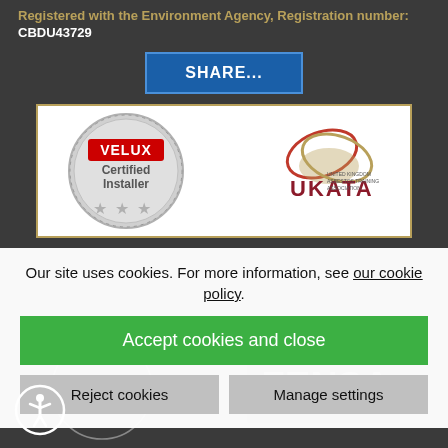Registered with the Environment Agency, Registration number: CBDU43729
SHARE...
[Figure (logo): VELUX Certified Installer badge with three stars and UKATA United Kingdom Asbestos Training Association logo]
Our site uses cookies. For more information, see our cookie policy.
Accept cookies and close
Reject cookies
Manage settings
[Figure (logo): The Guild of Master Craftsmen logo and FENSA logo partially visible in bottom dark area]